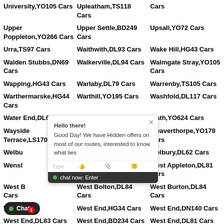University,YO105 Cars
Upleatham,TS118 Cars
Cars
Upper Poppleton,YO266 Cars
Upper Settle,BD249 Cars
Upsall,YO72 Cars
Urra,TS97 Cars
Waithwith,DL93 Cars
Wake Hill,HG43 Cars
Walden Stubbs,DN69 Cars
Walkerville,DL94 Cars
Walmgate Stray,YO105 Cars
Wapping,HG43 Cars
Warlaby,DL79 Cars
Warrenby,TS105 Cars
Warthermarske,HG44 Cars
Warthill,YO195 Cars
Washfold,DL117 Cars
Water End,DL62 Cars
Wath,HG35 Cars
Wath,YO624 Cars
Wayside Terrace,LS170 Cars
Weaponness,YO112 Cars
Weaverthorpe,YO178 Cars
Welbu...
Welburn,YO607 Cars
Welbury,DL62 Cars
Wensl...
Wescoe Hill,LS170 Cars
West Appleton,DL81 Cars
West B... Cars
West Bolton,DL84 Cars
West Burton,DL84 Cars
West D... s
West End,HG34 Cars
West End,DN140 Cars
West End,DL83 Cars
West End,BD234 Cars
West End,DL81 Cars
Westfield TS101 Cars
Westfield YO84 Cars
Westfield Park,YO232